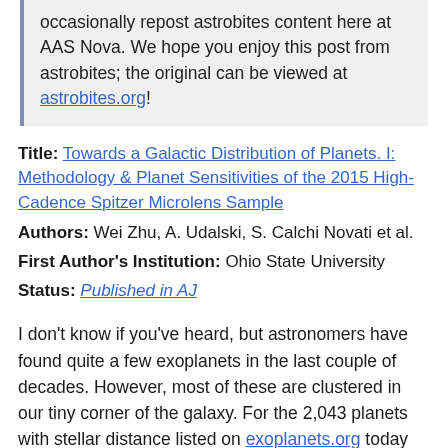occasionally repost astrobites content here at AAS Nova. We hope you enjoy this post from astrobites; the original can be viewed at astrobites.org!
Title: Towards a Galactic Distribution of Planets. I: Methodology & Planet Sensitivities of the 2015 High-Cadence Spitzer Microlens Sample
Authors: Wei Zhu, A. Udalski, S. Calchi Novati et al.
First Author's Institution: Ohio State University
Status: Published in AJ
I don't know if you've heard, but astronomers have found quite a few exoplanets in the last couple of decades. However, most of these are clustered in our tiny corner of the galaxy. For the 2,043 planets with stellar distance listed on exoplanets.org today (yes, I know this article will be out of date in a week...) the average distance from to